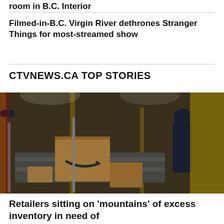room in B.C. Interior
Filmed-in-B.C. Virgin River dethrones Stranger Things for most-streamed show
CTVNEWS.CA TOP STORIES
[Figure (photo): Amazon fulfillment centre with boxes on conveyor belt and worker in background]
Retailers sitting on 'mountains' of excess inventory in need of